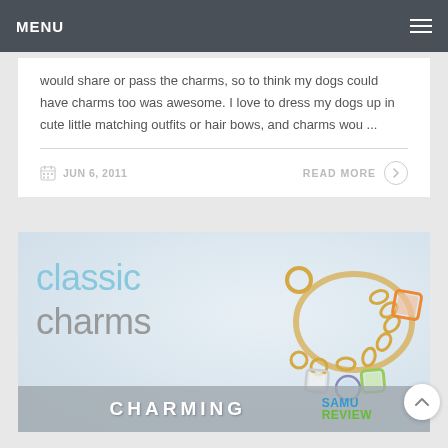MENU
would share or pass the charms, so to think my dogs could have charms too was awesome. I love to dress my dogs up in cute little matching outfits or hair bows, and charms wou ...
JUN 6, 2011
READ MORE
[Figure (photo): Classic Charms promotional image showing a gold charm bracelet with colorful square photo charms on a white fabric background. Text overlay reads 'classic charms'. Bottom bar reads 'CHARMING' with SAMple REVIEW logo.]